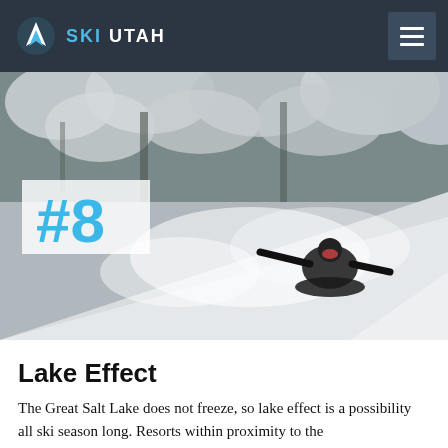SKI UTAH
[Figure (photo): A snowboarder carving through deep powder snow with trees covered in heavy snow in the background. A semi-transparent white box in the lower left corner shows '#8' in large blue text.]
Lake Effect
The Great Salt Lake does not freeze, so lake effect is a possibility all ski season long. Resorts within proximity to the lake receive lake effect snowfall, which can boost snowfall amounts significantly.